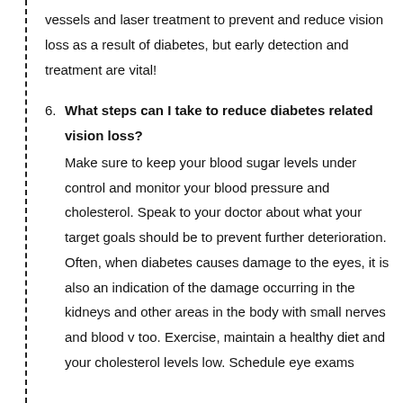vessels and laser treatment to prevent and reduce vision loss as a result of diabetes, but early detection and treatment are vital!
6. What steps can I take to reduce diabetes related vision loss? Make sure to keep your blood sugar levels under control and monitor your blood pressure and cholesterol. Speak to your doctor about what your target goals should be to prevent further deterioration. Often, when diabetes causes damage to the eyes, it is also an indication of the damage occurring in the kidneys and other areas in the body with small nerves and blood v... too. Exercise, maintain a healthy diet and your cholesterol levels low. Schedule eye exams